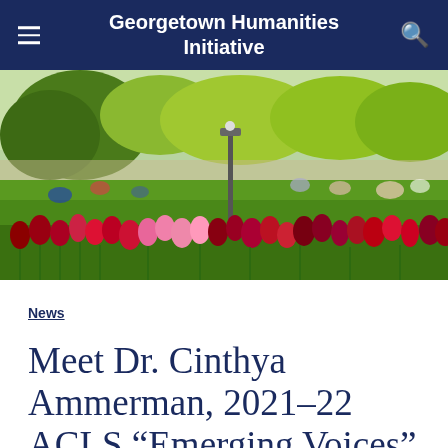Georgetown Humanities Initiative
[Figure (photo): Outdoor campus scene with students relaxing on green grass, trees with spring foliage, and a foreground of bright red and pink tulips in bloom.]
News
Meet Dr. Cinthya Ammerman, 2021-22 ACLS “Emerging Voices”